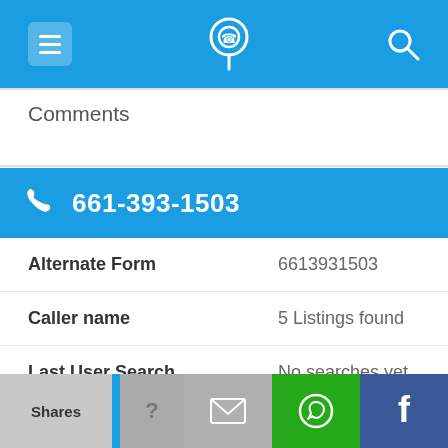Navigation bar with hamburger menu, phone locator icon, and search icon
Comments
661-393-1503
| Field | Value |
| --- | --- |
| Alternate Form | 6613931503 |
| Caller name | 5 Listings found |
| Last User Search | No searches yet |
| Comments |  |
Shares | Email | WhatsApp | Facebook